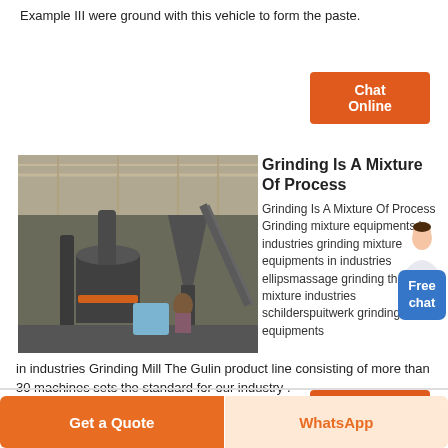Example III were ground with this vehicle to form the paste.
[Figure (other): Orange button labeled 'Chat Online' on white background]
[Figure (photo): Industrial grinding mill machinery inside a factory warehouse with large equipment and workers visible]
Grinding Is A Mixture Of Process
Grinding Is A Mixture Of Process Grinding mixture equipments in industries grinding mixture equipments in industries ellipsmassage grinding the mixture industries schilderspuitwerk grinding mixture equipments in industries Grinding Mill The Gulin product line consisting of more than 30 machines sets the standard for our industry .
[Figure (other): Blue popup bubble showing 'Free chat' with a customer service avatar]
[Figure (other): Orange button labeled 'Chat Online' on white background]
[Figure (other): Orange 'Get a Quote' button and light orange 'WhatsApp' button in footer bar]